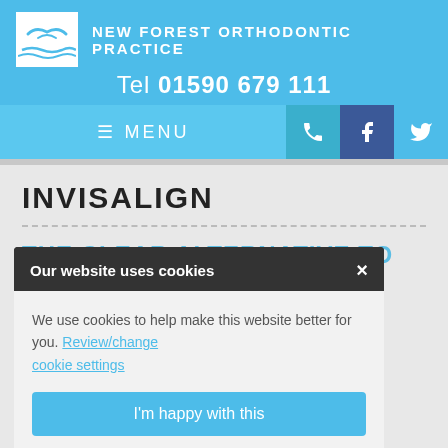NEW FOREST ORTHODONTIC PRACTICE
Tel 01590 679 111
≡ MENU
INVISALIGN
THE CLEAR ALTERNATIVE TO BRACES
Our website uses cookies
We use cookies to help make this website better for you. Review/change cookie settings
I'm happy with this
At New Fo… most invisible and